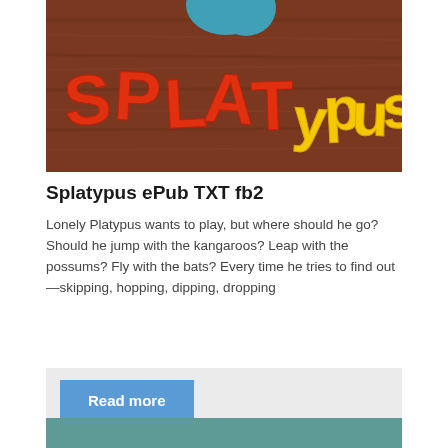[Figure (illustration): Book cover of 'Splatypus' showing colorful hand-crafted letters spelling 'SPLATYPUS' in red and yellow on a brown wood-grain background, with a teal shape at the top.]
Splatypus ePub TXT fb2
Lonely Platypus wants to play, but where should he go? Should he jump with the kangaroos? Leap with the possums? Fly with the bats? Every time he tries to find out—skipping, hopping, dipping, dropping
Read more